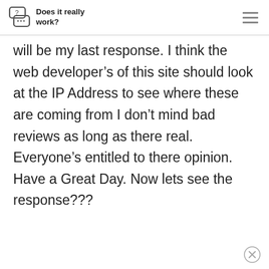Does it really work?
will be my last response. I think the web developer’s of this site should look at the IP Address to see where these are coming from I don’t mind bad reviews as long as there real. Everyone’s entitled to there opinion. Have a Great Day. Now lets see the response???